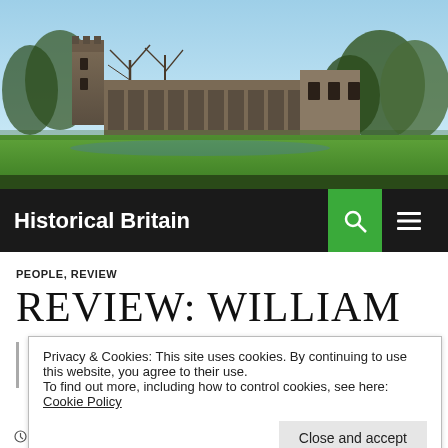[Figure (photo): Photograph of a historic British abbey (likely Fountains Abbey) with stone ruins, bare trees, green lawn, and blue sky in the background.]
Historical Britain
PEOPLE, REVIEW
REVIEW: WILLIAM
Privacy & Cookies: This site uses cookies. By continuing to use this website, you agree to their use. To find out more, including how to control cookies, see here: Cookie Policy
Close and accept
JUNE 6, 2013  VICKI  LEAVE A COMMENT